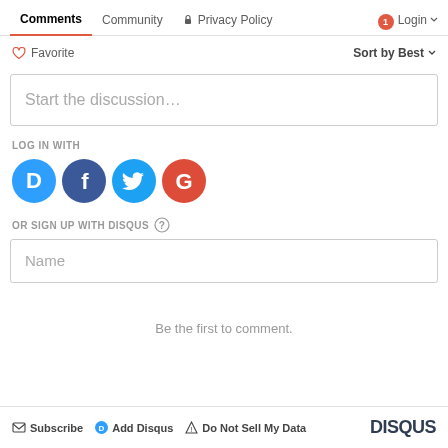Comments  Community  Privacy Policy  1  Login
Favorite  Sort by Best
Start the discussion…
LOG IN WITH
[Figure (infographic): Four social login icons: Disqus (blue circle with D), Facebook (dark blue circle with f), Twitter (light blue circle with bird), Google (red circle with G)]
OR SIGN UP WITH DISQUS ?
Name
Be the first to comment.
Subscribe  Add Disqus  Do Not Sell My Data  DISQUS